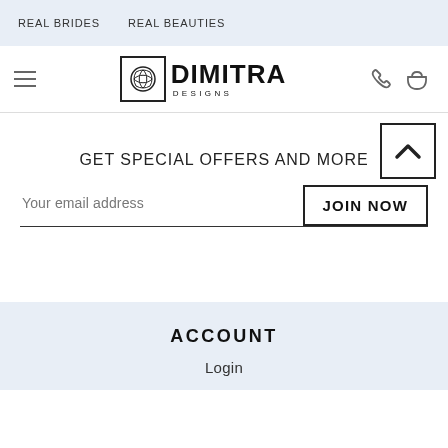REAL BRIDES   REAL BEAUTIES
[Figure (logo): Dimitra Designs logo with ornamental square icon, hamburger menu icon, phone icon, and bag icon]
[Figure (other): Back to top button with upward chevron arrow inside a square border]
GET SPECIAL OFFERS AND MORE
Your email address
JOIN NOW
ACCOUNT
Login